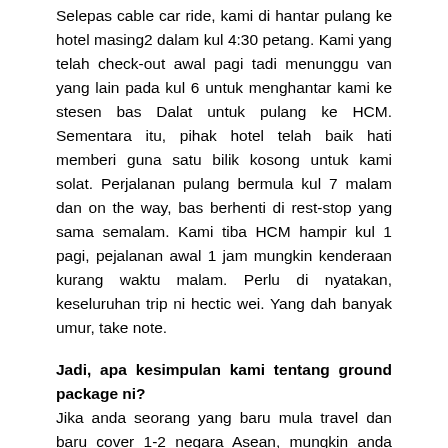Selepas cable car ride, kami di hantar pulang ke hotel masing2 dalam kul 4:30 petang. Kami yang telah check-out awal pagi tadi menunggu van yang lain pada kul 6 untuk menghantar kami ke stesen bas Dalat untuk pulang ke HCM. Sementara itu, pihak hotel telah baik hati memberi guna satu bilik kosong untuk kami solat. Perjalanan pulang bermula kul 7 malam dan on the way, bas berhenti di rest-stop yang sama semalam. Kami tiba HCM hampir kul 1 pagi, pejalanan awal 1 jam mungkin kenderaan kurang waktu malam. Perlu di nyatakan, keseluruhan trip ni hectic wei. Yang dah banyak umur, take note.
Jadi, apa kesimpulan kami tentang ground package ni?
Jika anda seorang yang baru mula travel dan baru cover 1-2 negara Asean, mungkin anda akan merasa puas melawat tempat2 yang di bawa. Kepada yang telah banyak cover negara Asean, anda mungkin merasakan tarikan2 ini lebih kurang sama yang terdapat di negara Asean lain malah